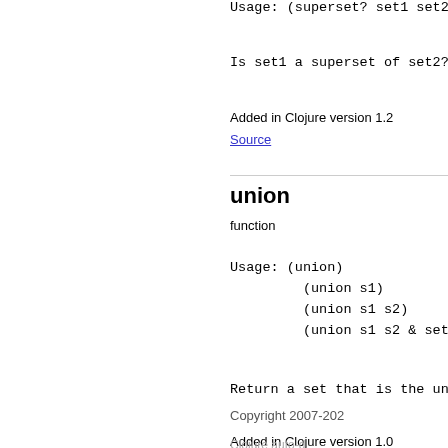Usage: (superset? set1 set2)
Is set1 a superset of set2?
Added in Clojure version 1.2
Source
union
function
Usage: (union)
         (union s1)
         (union s1 s2)
         (union s1 s2 & sets)
Return a set that is the unio
Added in Clojure version 1.0
Source
Copyright 2007-202
Clojure auto-d